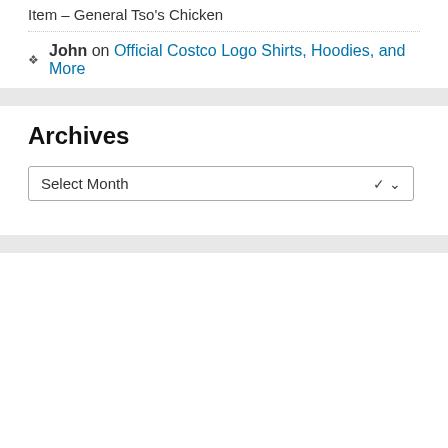Item – General Tso's Chicken
John on Official Costco Logo Shirts, Hoodies, and More
Archives
Select Month